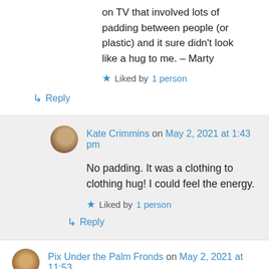on TV that involved lots of padding between people (or plastic) and it sure didn't look like a hug to me. – Marty
★ Liked by 1 person
↳ Reply
Kate Crimmins on May 2, 2021 at 1:43 pm
No padding. It was a clothing to clothing hug! I could feel the energy.
★ Liked by 1 person
↳ Reply
Pix Under the Palm Fronds on May 2, 2021 at 11:53